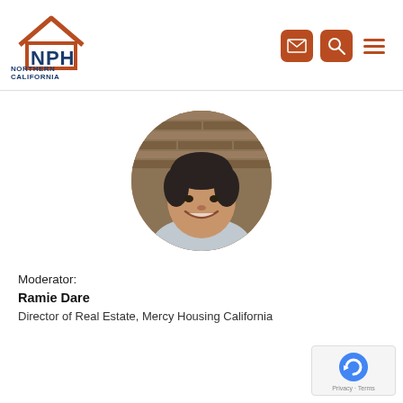[Figure (logo): NPH Northern California logo with house icon outline in orange-red and NPH text in dark blue]
[Figure (photo): Circular headshot photo of Ramie Dare, a woman with short dark hair, smiling, with a brick wall background]
Moderator:
Ramie Dare
Director of Real Estate, Mercy Housing California